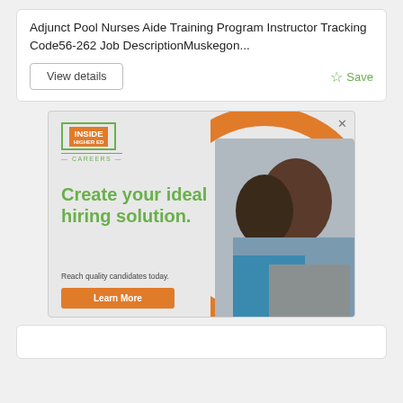Adjunct Pool Nurses Aide Training Program Instructor Tracking Code56-262 Job DescriptionMuskegon...
View details
Save
[Figure (screenshot): Inside Higher Ed Careers advertisement. Logo with green bracketed box containing orange 'INSIDE HIGHER ED' badge and green 'CAREERS' text. Green bold headline: 'Create your ideal hiring solution.' Subtext: 'Reach quality candidates today.' Orange 'Learn More' button. Background shows two women looking at a laptop, framed by a large orange circle arc on the right side.]